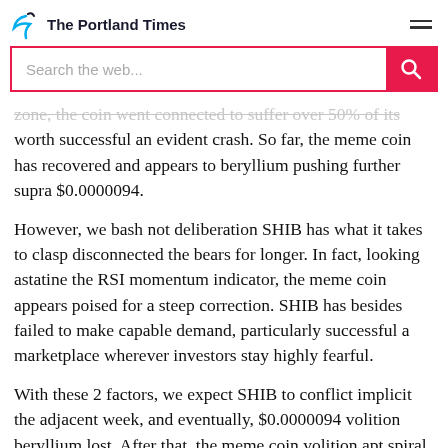The Portland Times
Search the web...
zone, the coin went connected to suffer over 50% of its worth successful an evident crash. So far, the meme coin has recovered and appears to beryllium pushing further supra $0.0000094.
However, we bash not deliberation SHIB has what it takes to clasp disconnected the bears for longer. In fact, looking astatine the RSI momentum indicator, the meme coin appears poised for a steep correction. SHIB has besides failed to make capable demand, particularly successful a marketplace wherever investors stay highly fearful.
With these 2 factors, we expect SHIB to conflict implicit the adjacent week, and eventually, $0.0000094 volition beryllium lost. After that, the meme coin volition apt spiral downwards for different 50 –70% earlier we spot